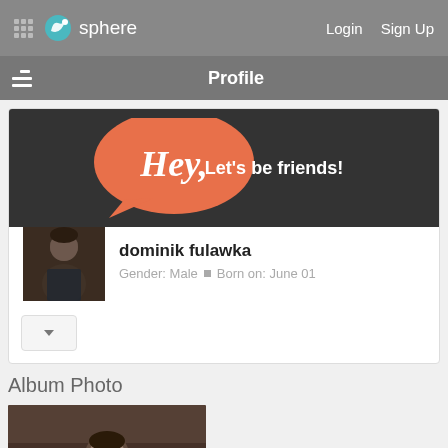sphere   Login   Sign Up
Profile
[Figure (illustration): Dark banner with orange speech bubble saying Hey, and text Let's be friends!]
[Figure (photo): Profile photo of dominik fulawka]
dominik fulawka
Gender: Male • Born on: June 01
Album Photo
[Figure (photo): Album photo thumbnail of dominik fulawka]